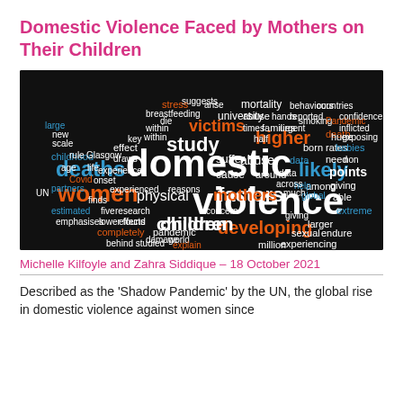Domestic Violence Faced by Mothers on Their Children
[Figure (illustration): Word cloud on a black background featuring terms related to domestic violence. Prominent words include 'domestic', 'violence', 'children', 'mothers', 'women', 'deaths', 'victims', 'higher', 'abuse', 'physical', 'study', 'factors', 'developing', 'million', 'pandemic', and others in white, orange, and blue colors.]
Michelle Kilfoyle and Zahra Siddique – 18 October 2021
Described as the 'Shadow Pandemic' by the UN, the global rise in domestic violence against women since